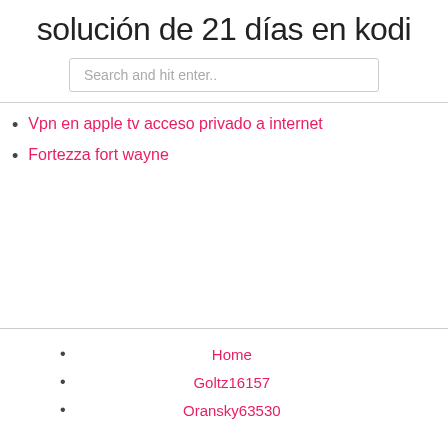solución de 21 días en kodi
Search and hit enter..
Vpn en apple tv acceso privado a internet
Fortezza fort wayne
Home
Goltz16157
Oransky63530